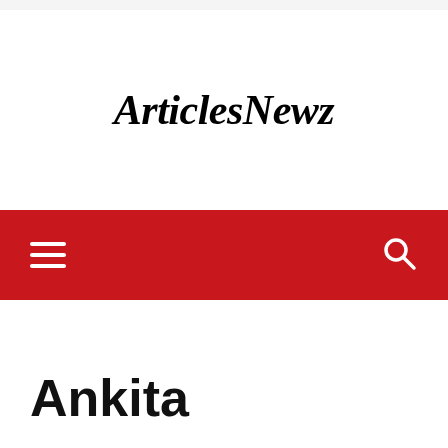ArticlesNewz
[Figure (other): Red navigation bar with hamburger menu icon on the left and search icon on the right]
Ankita